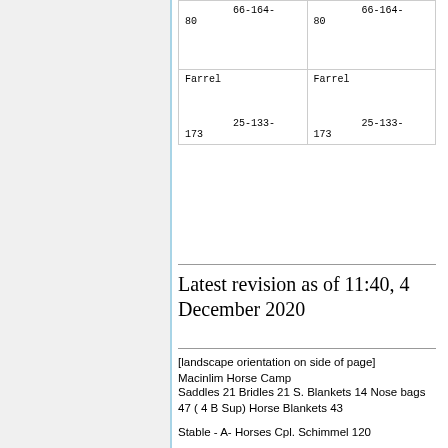| 66-164-
80 | 66-164-
80 |
| Farrel

25-133-
173 | Farrel

25-133-
173 |
Latest revision as of 11:40, 4 December 2020
[landscape orientation on side of page]
Macinlim Horse Camp
Saddles 21 Bridles 21 S. Blankets 14 Nose bags 47 ( 4 B Sup) Horse Blankets 43
Stable - A- Horses Cpl. Schimmel 120